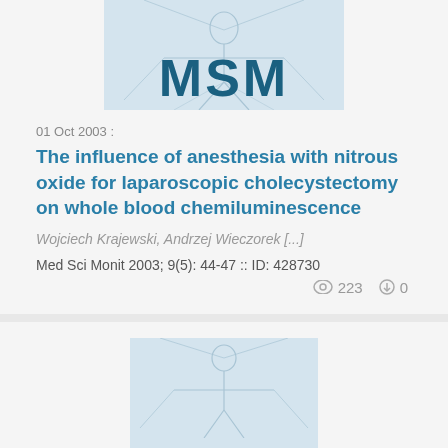[Figure (logo): MSM journal logo with Vitruvian Man watermark, partial top crop]
01 Oct 2003 :
The influence of anesthesia with nitrous oxide for laparoscopic cholecystectomy on whole blood chemiluminescence
Wojciech Krajewski, Andrzej Wieczorek [...]
Med Sci Monit 2003; 9(5): 44-47 :: ID: 428730
223  0
[Figure (logo): MSM journal logo with Vitruvian Man watermark, bottom portion of page]